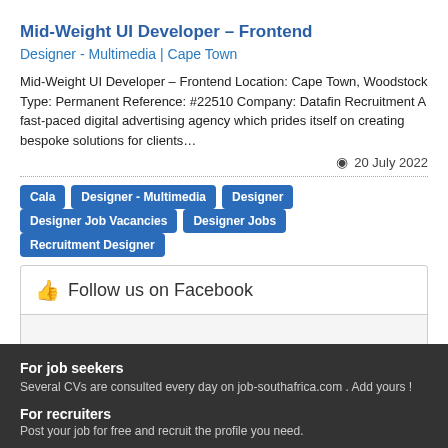Mid-Weight UI Developer – Frontend
Designer - Multimedia | Cape Town
Mid-Weight UI Developer – Frontend Location: Cape Town, Woodstock Type: Permanent Reference: #22510 Company: Datafin Recruitment A fast-paced digital advertising agency which prides itself on creating bespoke solutions for clients…
20 July 2022
Cala
Designer - Multimedia
Designer
Designer Job Vacancies
Designer Jobs
Recruitment Designer
Follow us on Facebook
For job seekers
Several CVs are consulted every day on job-southafrica.com . Add yours !
For recruiters
Post your job for free and recruit the profile you need.